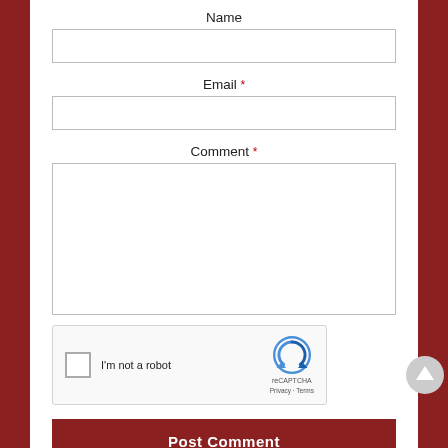Name
[Figure (screenshot): Empty text input field for Name]
Email *
[Figure (screenshot): Empty text input field for Email]
Comment *
[Figure (screenshot): Empty textarea input field for Comment]
[Figure (screenshot): reCAPTCHA widget with checkbox 'I'm not a robot' and reCAPTCHA logo with Privacy and Terms links]
[Figure (screenshot): Scroll-to-top circular button arrow]
Post Comment